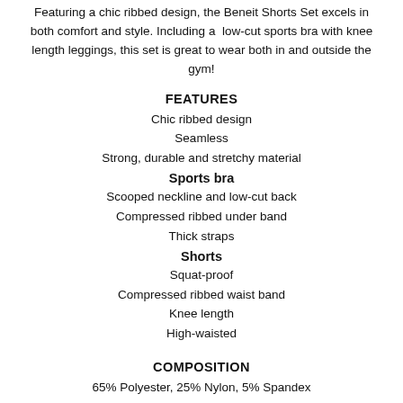Featuring a chic ribbed design, the Beneit Shorts Set excels in both comfort and style. Including a low-cut sports bra with knee length leggings, this set is great to wear both in and outside the gym!
FEATURES
Chic ribbed design
Seamless
Strong, durable and stretchy material
Sports bra
Scooped neckline and low-cut back
Compressed ribbed under band
Thick straps
Shorts
Squat-proof
Compressed ribbed waist band
Knee length
High-waisted
COMPOSITION
65% Polyester, 25% Nylon, 5% Spandex